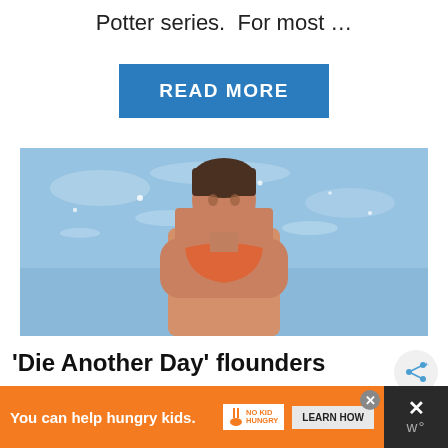Potter series.  For most …
[Figure (other): Blue READ MORE button]
[Figure (photo): Woman in orange bikini top emerging from the ocean, short dark hair, blue water background]
'Die Another Day' flounders
You can help hungry kids.
[Figure (logo): No Kid Hungry logo with fork icon]
LEARN HOW